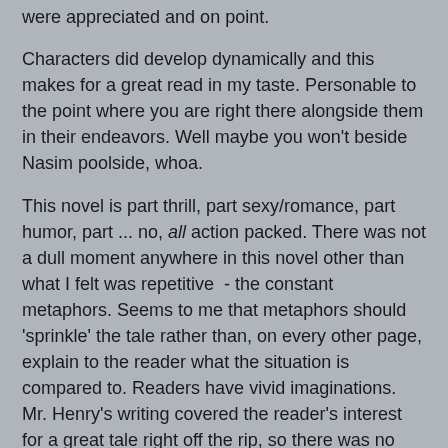were appreciated and on point.
Characters did develop dynamically and this makes for a great read in my taste. Personable to the point where you are right there alongside them in their endeavors. Well maybe you won't beside Nasim poolside, whoa.
This novel is part thrill, part sexy/romance, part humor, part ... no, all action packed. There was not a dull moment anywhere in this novel other than what I felt was repetitive - the constant metaphors. Seems to me that metaphors should 'sprinkle' the tale rather than, on every other page, explain to the reader what the situation is compared to. Readers have vivid imaginations. Mr. Henry's writing covered the reader's interest for a great tale right off the rip, so there was no need. I would rather have had the tale sprinkled.
Thank you George for an excellent read.
Highly recommended for action packed thrill seekers. Seriously folks.